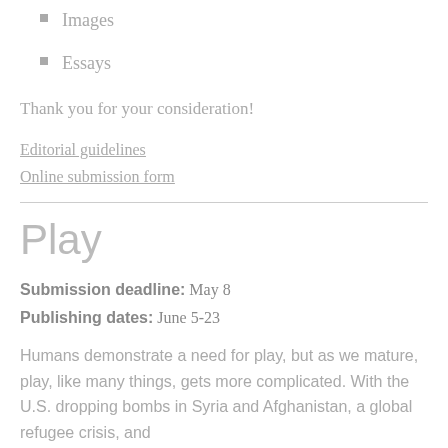Images
Essays
Thank you for your consideration!
Editorial guidelines
Online submission form
Play
Submission deadline: May 8
Publishing dates: June 5-23
Humans demonstrate a need for play, but as we mature, play, like many things, gets more complicated. With the U.S. dropping bombs in Syria and Afghanistan, a global refugee crisis, and